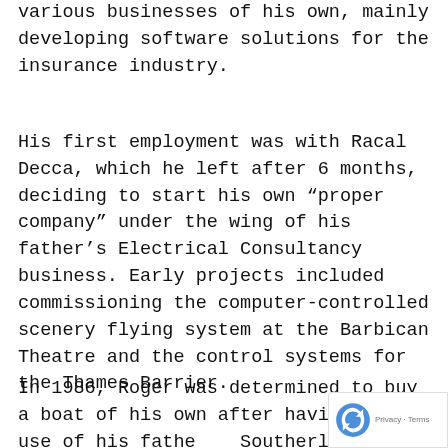various businesses of his own, mainly developing software solutions for the insurance industry.
His first employment was with Racal Decca, which he left after 6 months, deciding to start his own “proper company” under the wing of his father’s Electrical Consultancy business. Early projects included commissioning the computer-controlled scenery flying system at the Barbican Theatre and the control systems for the Thames Barrier.
In 1986, Roger was determined to buy a boat of his own after having had use of his father’s Southerly 95, which he sold. On the way to the Southampton Boat Show he decided to pop in